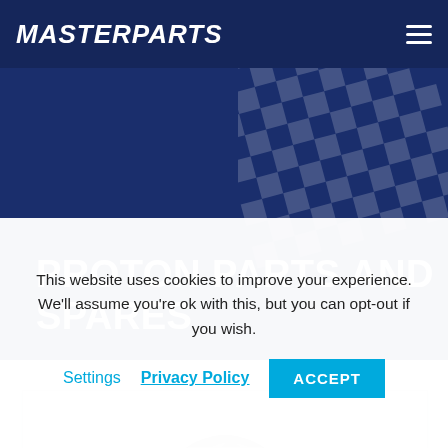MASTERPARTS
PROTON PARTS AND SPARES
[Figure (screenshot): Partial view of a car (roof/hood silhouette) shown inside a white card box on a light blue background]
This website uses cookies to improve your experience. We'll assume you're ok with this, but you can opt-out if you wish.
Settings  Privacy Policy  ACCEPT